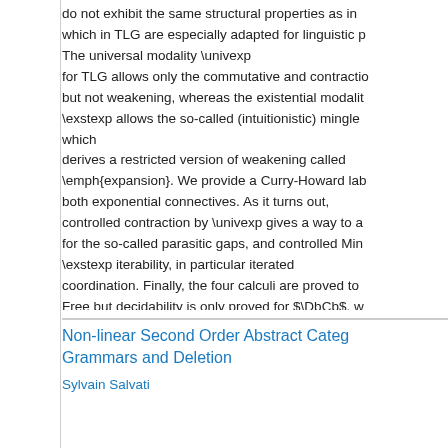do not exhibit the same structural properties as in which in TLG are especially adapted for linguistic p The universal modality \univexp for TLG allows only the commutative and contractio but not weakening, whereas the existential modalit \exstexp allows the so-called (intuitionistic) mingle which derives a restricted version of weakening called \emph{expansion}. We provide a Curry-Howard lab both exponential connectives. As it turns out, controlled contraction by \univexp gives a way to a for the so-called parasitic gaps, and controlled Min \exstexp iterability, in particular iterated coordination. Finally, the four calculi are proved to Free but decidability is only proved for $\DbCb$, w for the rest the question of decidability remains ope
Non-linear Second Order Abstract Categ Grammars and Deletion
Sylvain Salvati